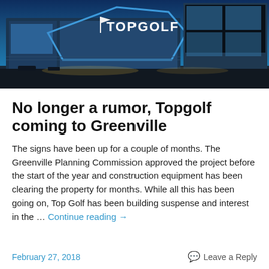[Figure (photo): Topgolf building exterior at dusk with blue neon lighting and Topgolf logo sign on large modern building facade]
No longer a rumor, Topgolf coming to Greenville
The signs have been up for a couple of months. The Greenville Planning Commission approved the project before the start of the year and construction equipment has been clearing the property for months. While all this has been going on, Top Golf has been building suspense and interest in the … Continue reading →
February 27, 2018
Leave a Reply